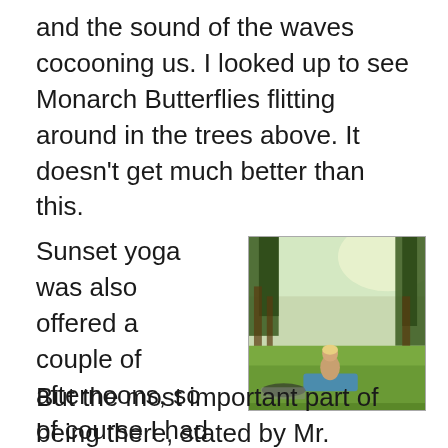and the sound of the waves cocooning us. I looked up to see Monarch Butterflies flitting around in the trees above. It doesn't get much better than this.
Sunset yoga was also offered a couple of afternoons, so of course I had to go to that as well. Sunsets can be spectacular there, so why not. The experience was equally wonderful.
[Figure (photo): Outdoor yoga session on grass with trees and bright sky in background; one person sitting on a yoga mat is visible.]
But the most important part of being there, stated by Mr. Twitchy, is that we can sit at